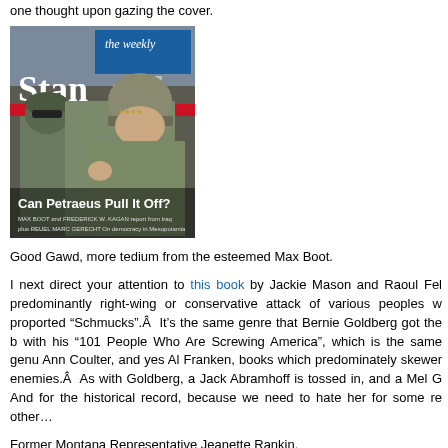one thought upon gazing the cover.
[Figure (photo): Cover of The Weekly Standard magazine showing military soldiers in camouflage, with text 'Can Petraeus Pull It Off?' and subtext about Max Boot and Frederick W. Kagan reporting from Iraq.]
Good Gawd, more tedium from the esteemed Max Boot.
I next direct your attention to this book by Jackie Mason and Raoul Fel predominantly right-wing or conservative attack of various peoples w proported "Schmucks".Â  It's the same genre that Bernie Goldberg got the b with his "101 People Who Are Screwing America", which is the same genu Ann Coulter, and yes Al Franken, books which predominately skewer enemies.Â  As with Goldberg, a Jack Abramhoff is tossed in, and a Mel G And for the historical record, because we need to hate her for some re other…
Former Montana Representative Jeanette Rankin.